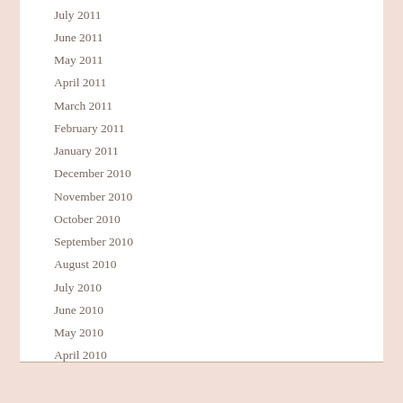July 2011
June 2011
May 2011
April 2011
March 2011
February 2011
January 2011
December 2010
November 2010
October 2010
September 2010
August 2010
July 2010
June 2010
May 2010
April 2010